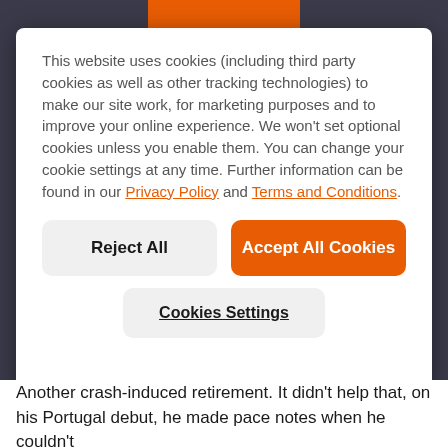This website uses cookies (including third party cookies as well as other tracking technologies) to make our site work, for marketing purposes and to improve your online experience. We won't set optional cookies unless you enable them. You can change your cookie settings at any time. Further information can be found in our Privacy Policy and Terms and Conditions.
Reject All
Accept All Cookies
Cookies Settings
Another crash-induced retirement. It didn't help that, on his Portugal debut, he made pace notes when he couldn't